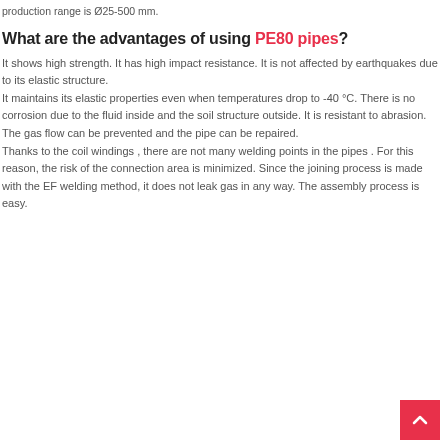production range is Ø25-500 mm.
What are the advantages of using PE80 pipes?
It shows high strength. It has high impact resistance. It is not affected by earthquakes due to its elastic structure. It maintains its elastic properties even when temperatures drop to -40 °C. There is no corrosion due to the fluid inside and the soil structure outside. It is resistant to abrasion. The gas flow can be prevented and the pipe can be repaired. Thanks to the coil windings , there are not many welding points in the pipes . For this reason, the risk of the connection area is minimized. Since the joining process is made with the EF welding method, it does not leak gas in any way. The assembly process is easy.